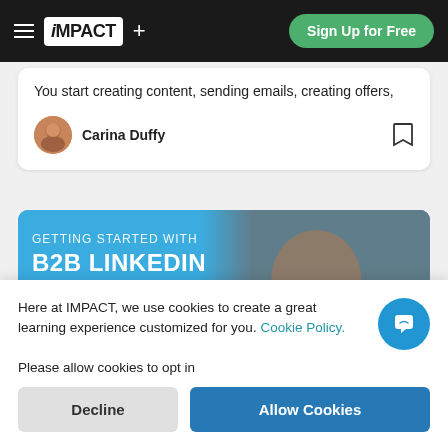iMPACT+ | Sign Up for Free
You start creating content, sending emails, creating offers,
Carina Duffy
[Figure (photo): Course banner: Getting Started with B2B LinkedIn Advertising, featuring a man with glasses smiling, on a blue background]
Here at IMPACT, we use cookies to create a great learning experience customized for you. Cookie Policy. Please allow cookies to opt in
Decline
Allow Cookies